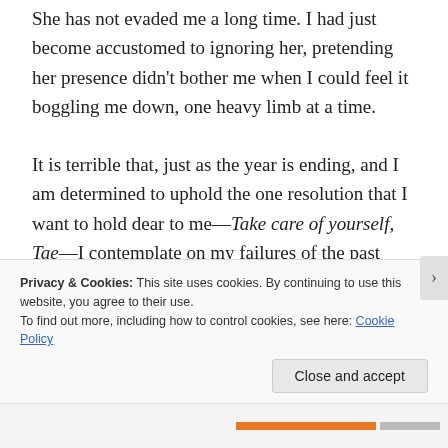She has not evaded me a long time. I had just become accustomed to ignoring her, pretending her presence didn't bother me when I could feel it boggling me down, one heavy limb at a time.
It is terrible that, just as the year is ending, and I am determined to uphold the one resolution that I want to hold dear to me—Take care of yourself, Tae—I contemplate on my failures of the past school term. All of my hard work has culminated to this, this fear of not passing the one required class of the semester
Privacy & Cookies: This site uses cookies. By continuing to use this website, you agree to their use.
To find out more, including how to control cookies, see here: Cookie Policy
Close and accept